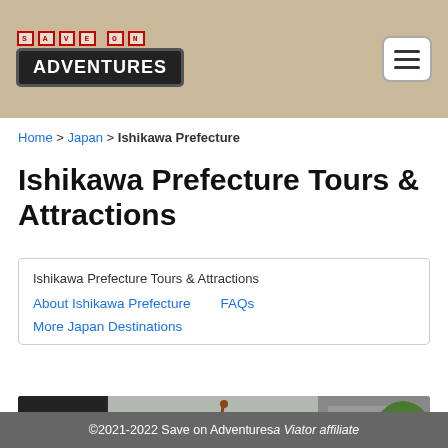Save on Adventures
Home > Japan > Ishikawa Prefecture
Ishikawa Prefecture Tours & Attractions
| Ishikawa Prefecture Tours & Attractions |
| About Ishikawa Prefecture | FAQs |
| More Japan Destinations |
[Figure (photo): Red umbrella with a blue cat design, viewed from below on a traditional Japanese street]
©2021-2022 Save on Adventures a Viator affiliate